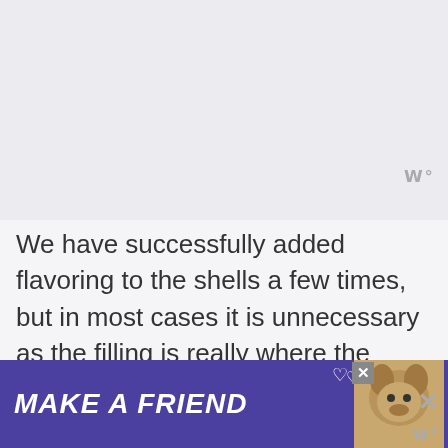[Figure (other): Top image area placeholder (partially visible image, light gray/purple background)]
We have successfully added flavoring to the shells a few times, but in most cases it is unnecessary as the filling is really where the flavoring comes from.

Here are some more Macarons recipes to check out: Raspberry
[Figure (other): Advertisement banner: MAKE A FRIEND with dog image, purple background]